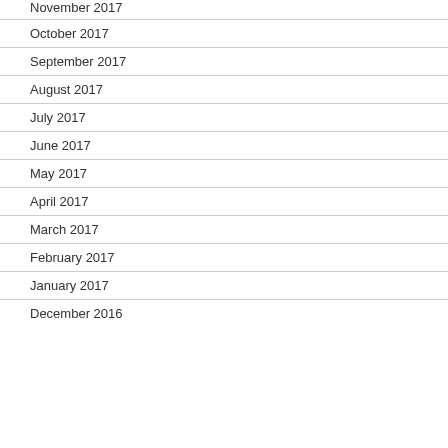November 2017
October 2017
September 2017
August 2017
July 2017
June 2017
May 2017
April 2017
March 2017
February 2017
January 2017
December 2016